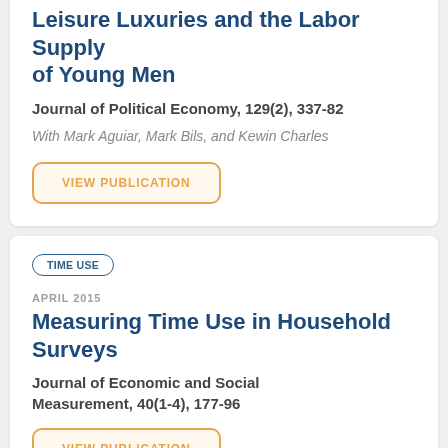Leisure Luxuries and the Labor Supply of Young Men
Journal of Political Economy, 129(2), 337-82
With Mark Aguiar, Mark Bils, and Kewin Charles
VIEW PUBLICATION
TIME USE
APRIL 2015
Measuring Time Use in Household Surveys
Journal of Economic and Social Measurement, 40(1-4), 177-96
VIEW PUBLICATION